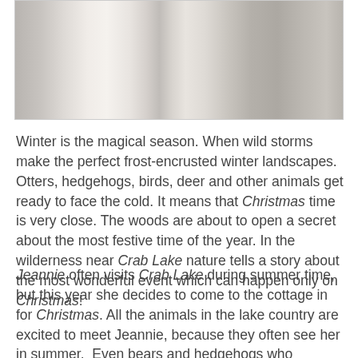[Figure (photo): Child sitting at a table with Christmas decorations including a holiday mug with candy cane, a book, and Christmas tree ornaments visible in the background.]
Winter is the magical season. When wild storms make the perfect frost-encrusted winter landscapes. Otters, hedgehogs, birds, deer and other animals get ready to face the cold. It means that Christmas time is very close. The woods are about to open a secret about the most festive time of the year. In the wilderness near Crab Lake nature tells a story about the most wonderful event which can happen only on Christmas!
Jeannie often visits Crab Lake during summer time, but this year she decides to come to the cottage in for Christmas. All the animals in the lake country are excited to meet Jeannie, because they often see her in summer.  Even bears and hedgehogs who hibernate in winter decide to greet Jeannie and postpone their sleep. And do you know the secret, animal can talk, but only in winter! This time they can tell Jeannie stories about their life and also share the secret that...